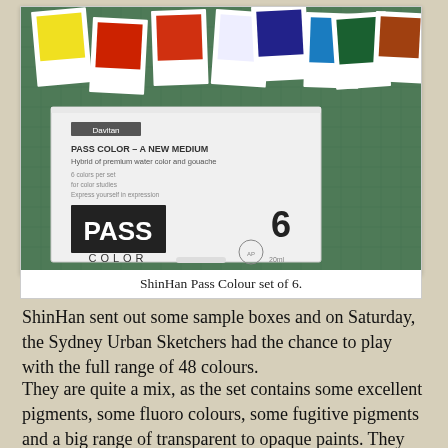[Figure (photo): Photograph of a ShinHan Pass Colour set of 6, showing a white product box with the PASS COLOR logo and the number 6, along with scattered color swatches on a green cutting mat background.]
ShinHan Pass Colour set of 6.
ShinHan sent out some sample boxes and on Saturday, the Sydney Urban Sketchers had the chance to play with the full range of 48 colours.
They are quite a mix, as the set contains some excellent pigments, some fluoro colours, some fugitive pigments and a big range of transparent to opaque paints. They are designed to be able to 'pass' from transparent watercolour through to thicker gouache applications seamlessly.